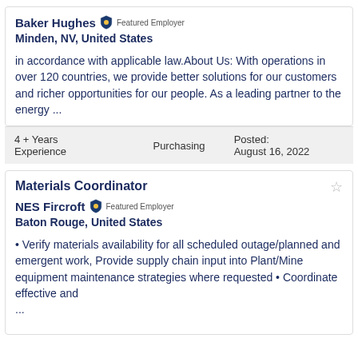Baker Hughes  Featured Employer
Minden, NV, United States
in accordance with applicable law.About Us: With operations in over 120 countries, we provide better solutions for our customers and richer opportunities for our people. As a leading partner to the energy ...
| 4 + Years Experience | Purchasing | Posted:
August 16, 2022 |
Materials Coordinator
NES Fircroft  Featured Employer
Baton Rouge, United States
• Verify materials availability for all scheduled outage/planned and emergent work, Provide supply chain input into Plant/Mine equipment maintenance strategies where requested • Coordinate effective and ...